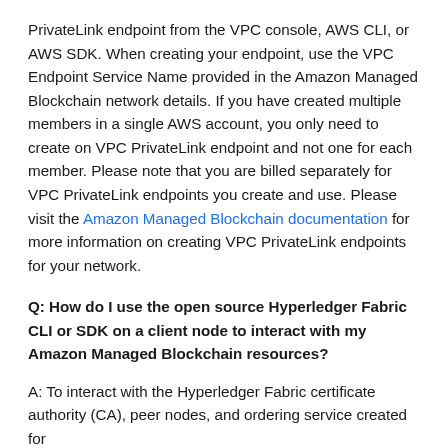PrivateLink endpoint from the VPC console, AWS CLI, or AWS SDK. When creating your endpoint, use the VPC Endpoint Service Name provided in the Amazon Managed Blockchain network details. If you have created multiple members in a single AWS account, you only need to create on VPC PrivateLink endpoint and not one for each member. Please note that you are billed separately for VPC PrivateLink endpoints you create and use. Please visit the Amazon Managed Blockchain documentation for more information on creating VPC PrivateLink endpoints for your network.
Q: How do I use the open source Hyperledger Fabric CLI or SDK on a client node to interact with my Amazon Managed Blockchain resources?
A: To interact with the Hyperledger Fabric certificate authority (CA), peer nodes, and ordering service created for